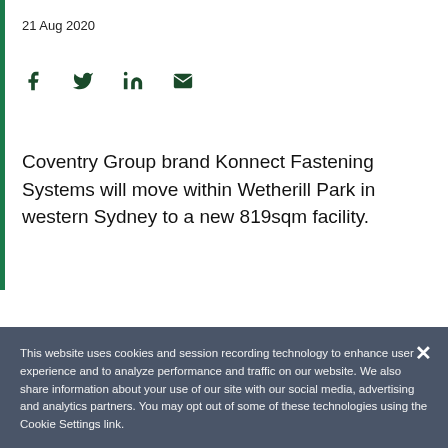21 Aug 2020
[Figure (other): Social sharing icons: Facebook, Twitter, LinkedIn, Email]
Coventry Group brand Konnect Fastening Systems will move within Wetherill Park in western Sydney to a new 819sqm facility.
The ASX-listed industrial-product supplier has
This website uses cookies and session recording technology to enhance user experience and to analyze performance and traffic on our website. We also share information about your use of our site with our social media, advertising and analytics partners. You may opt out of some of these technologies using the Cookie Settings link.